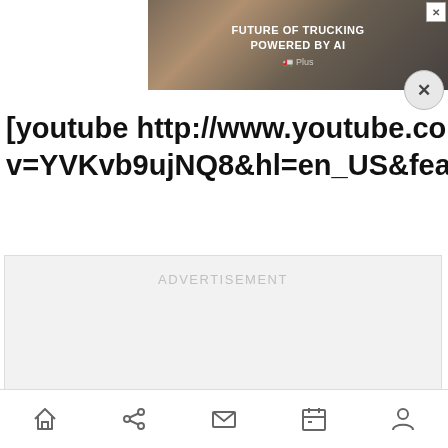[Figure (screenshot): Advertisement banner showing a truck with text 'FUTURE OF TRUCKING POWERED BY AI' and a brand logo, with a close button (X) in the top right corner]
[youtube http://www.youtube.com/watch?v=YVKvb9ujNQ8&hl=en_US&feature=player_embedd
[Figure (other): Advertisement placeholder with text 'ADVERTISEMENT']
Home | Share | Mail | Calendar | Profile